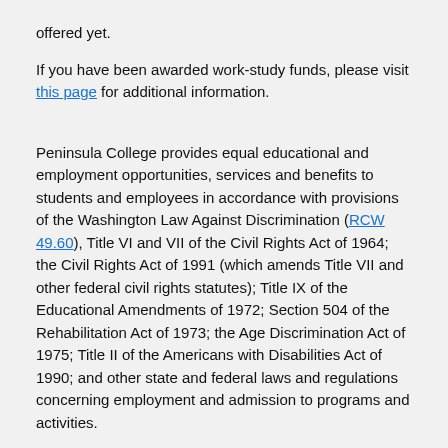offered yet.
If you have been awarded work-study funds, please visit this page for additional information.
Peninsula College provides equal educational and employment opportunities, services and benefits to students and employees in accordance with provisions of the Washington Law Against Discrimination (RCW 49.60), Title VI and VII of the Civil Rights Act of 1964; the Civil Rights Act of 1991 (which amends Title VII and other federal civil rights statutes); Title IX of the Educational Amendments of 1972; Section 504 of the Rehabilitation Act of 1973; the Age Discrimination Act of 1975; Title II of the Americans with Disabilities Act of 1990; and other state and federal laws and regulations concerning employment and admission to programs and activities.
Peninsula College prohibits discrimination on the basis of race, creed, color, national origin, families with children, sex, marital status, sexual orientation, including gender identity, age, honorably discharged veteran or military status, or the presence of any sensory, mental, or physical disability or the use of a trained dog...